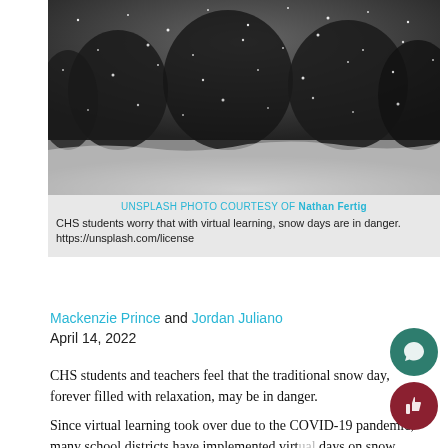[Figure (photo): Black and white photo of snow falling with trees in background]
UNSPLASH PHOTO COURTESY OF Nathan Fertig
CHS students worry that with virtual learning, snow days are in danger. https://unsplash.com/license
Mackenzie Prince and Jordan Juliano
April 14, 2022
CHS students and teachers feel that the traditional snow day, forever filled with relaxation, may be in danger.
Since virtual learning took over due to the COVID-19 pandemic, many school districts have implemented virtual days on snow days rather than closing school. This is in